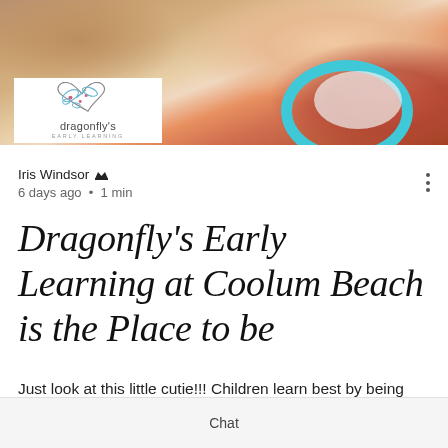[Figure (photo): Photo of a baby/toddler lying near a wicker basket with objects, wearing floral pants, with a teal-rimmed bowl visible. Dragonfly's Early Learning logo overlaid in white box at bottom-left of image.]
Iris Windsor 👑
6 days ago • 1 min
Dragonfly's Early Learning at Coolum Beach is the Place to be
Just look at this little cutie!!! Children learn best by being involved in learning,
Chat